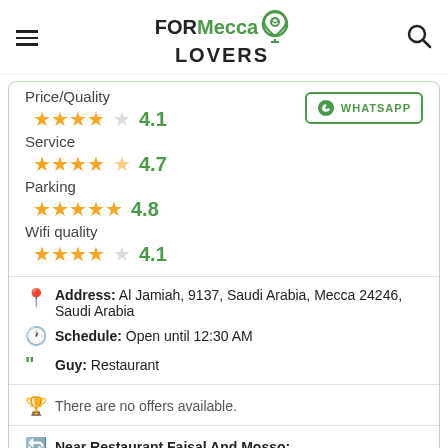FORMecca LOVERS
Price/Quality 4.1
Service 4.7
Parking 4.8
Wifi quality 4.1
Address: Al Jamiah, 9137, Saudi Arabia, Mecca 24246, Saudi Arabia
Schedule: Open until 12:30 AM
Guy: Restaurant
There are no offers available.
Near Restaurant Faisal And Mosso: